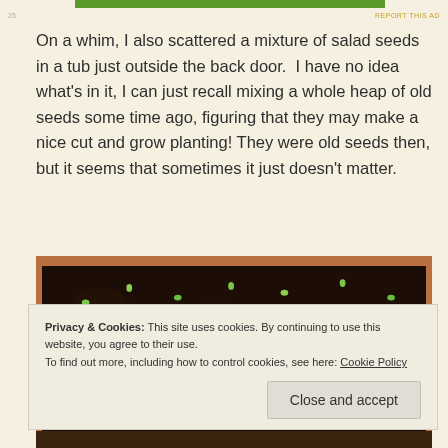REPORT THIS AD
On a whim, I also scattered a mixture of salad seeds in a tub just outside the back door.  I have no idea what's in it, I can just recall mixing a whole heap of old seeds some time ago, figuring that they may make a nice cut and grow planting! They were old seeds then, but it seems that sometimes it just doesn't matter.
[Figure (photo): A terracotta tub filled with dark soil showing small green seedlings sprouting throughout]
Privacy & Cookies: This site uses cookies. By continuing to use this website, you agree to their use.
To find out more, including how to control cookies, see here: Cookie Policy
Close and accept